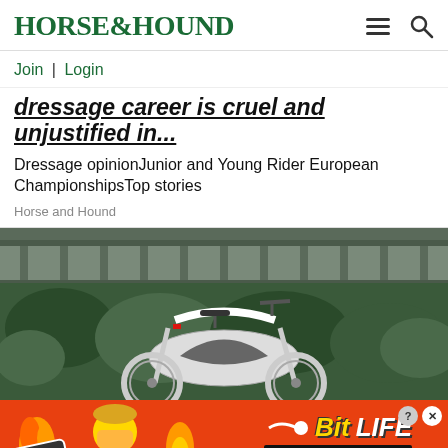HORSE&HOUND
Join | Login
dressage career is cruel and unjustified in...
Dressage opinionJunior and Young Rider European ChampionshipsTop stories
Horse and Hound
[Figure (photo): A modern white electric bicycle photographed under a bridge with green foliage in the background]
[Figure (infographic): BitLife advertisement banner with orange/red background, 'FAIL' text, emoji graphics, BitLife logo and 'START A NEW LIFE' button]